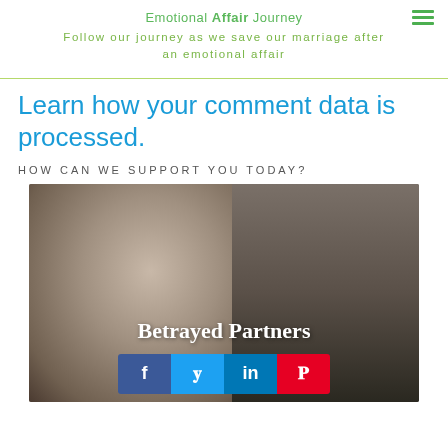Emotional Affair Journey
Follow our journey as we save our marriage after an emotional affair
Learn how your comment data is processed.
HOW CAN WE SUPPORT YOU TODAY?
[Figure (photo): A woman's face in sepia/grayscale on the left side, a man's silhouette on the right. Text overlay reads 'Betrayed Partners'. Social sharing buttons (Facebook, Twitter, LinkedIn, Pinterest) appear at the bottom.]